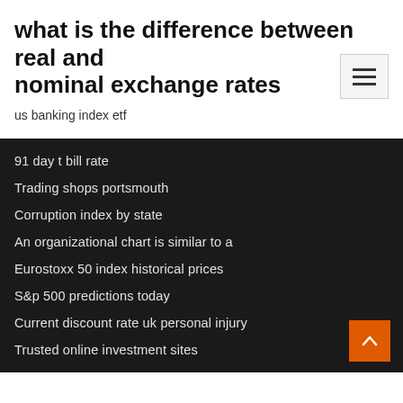what is the difference between real and nominal exchange rates
us banking index etf
91 day t bill rate
Trading shops portsmouth
Corruption index by state
An organizational chart is similar to a
Eurostoxx 50 index historical prices
S&p 500 predictions today
Current discount rate uk personal injury
Trusted online investment sites